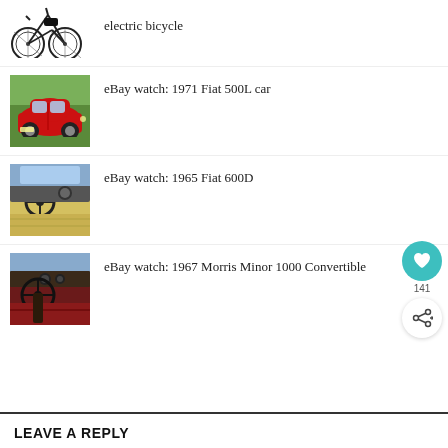[Figure (photo): Partial view of an electric bicycle, black, top portion cut off]
electric bicycle
[Figure (photo): Red 1971 Fiat 500L car parked outdoors]
eBay watch: 1971 Fiat 500L car
[Figure (photo): Interior view of 1965 Fiat 600D showing steering wheel and yellow seats]
eBay watch: 1965 Fiat 600D
[Figure (photo): Interior view of 1967 Morris Minor 1000 Convertible showing dashboard and red seats]
eBay watch: 1967 Morris Minor 1000 Convertible
LEAVE A REPLY